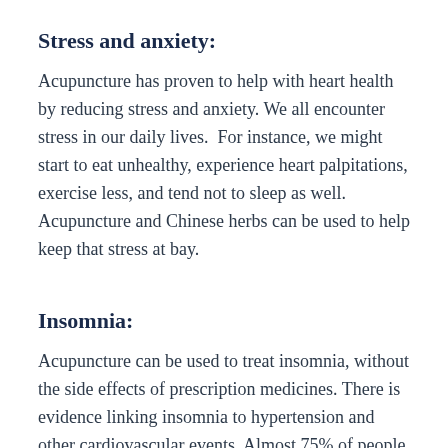Stress and anxiety:
Acupuncture has proven to help with heart health by reducing stress and anxiety. We all encounter stress in our daily lives.  For instance, we might start to eat unhealthy, experience heart palpitations, exercise less, and tend not to sleep as well. Acupuncture and Chinese herbs can be used to help keep that stress at bay.
Insomnia:
Acupuncture can be used to treat insomnia, without the side effects of prescription medicines. There is evidence linking insomnia to hypertension and other cardiovascular events. Almost 75% of people who have heart failure report frequent insomnia.